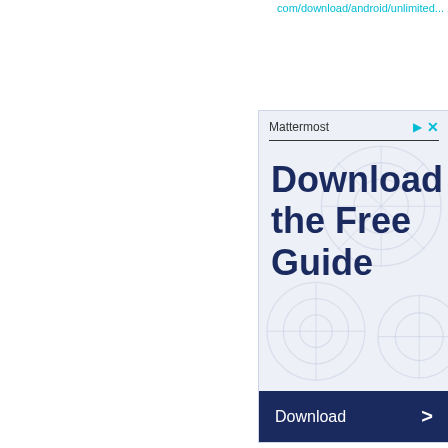com/download/android/unlimited...
[Figure (screenshot): Advertisement widget for Mattermost showing 'Download the Free Guide' with a dark navy Download button and chevron arrow. The ad has a light blue-grey background with decorative circle/globe patterns and a dark divider line under the brand name.]